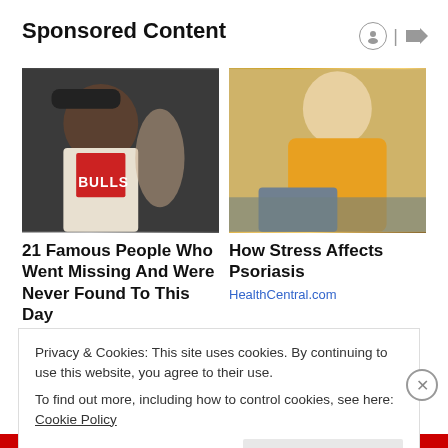Sponsored Content
[Figure (photo): Man wearing a Chicago Bulls jersey and cap, smiling, with a woman in the background]
[Figure (photo): Woman in a yellow sweater looking at and scratching her arm, sitting on a couch]
21 Famous People Who Went Missing And Were Never Found To This Day
How Stress Affects Psoriasis
HealthCentral.com
Privacy & Cookies: This site uses cookies. By continuing to use this website, you agree to their use.
To find out more, including how to control cookies, see here: Cookie Policy
Close and accept